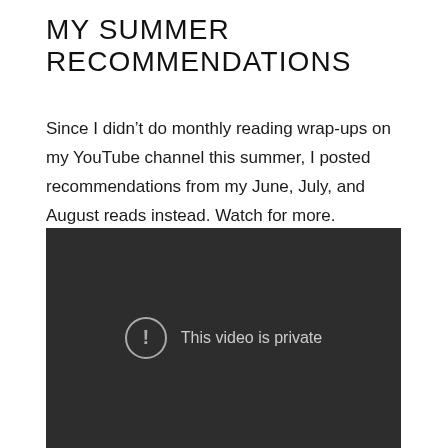MY SUMMER RECOMMENDATIONS
Since I didn’t do monthly reading wrap-ups on my YouTube channel this summer, I posted recommendations from my June, July, and August reads instead. Watch for more.
[Figure (screenshot): Dark gray video player showing error state with circular exclamation icon and text ‘This video is private’]